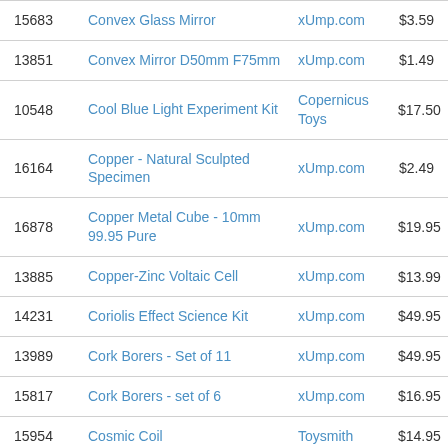| 15683 | Convex Glass Mirror | xUmp.com | $3.59 |
| 13851 | Convex Mirror D50mm F75mm | xUmp.com | $1.49 |
| 10548 | Cool Blue Light Experiment Kit | Copernicus Toys | $17.50 |
| 16164 | Copper - Natural Sculpted Specimen | xUmp.com | $2.49 |
| 16878 | Copper Metal Cube - 10mm 99.95 Pure | xUmp.com | $19.95 |
| 13885 | Copper-Zinc Voltaic Cell | xUmp.com | $13.99 |
| 14231 | Coriolis Effect Science Kit | xUmp.com | $49.95 |
| 13989 | Cork Borers - Set of 11 | xUmp.com | $49.95 |
| 15817 | Cork Borers - set of 6 | xUmp.com | $16.95 |
| 15954 | Cosmic Coil | Toysmith | $14.95 |